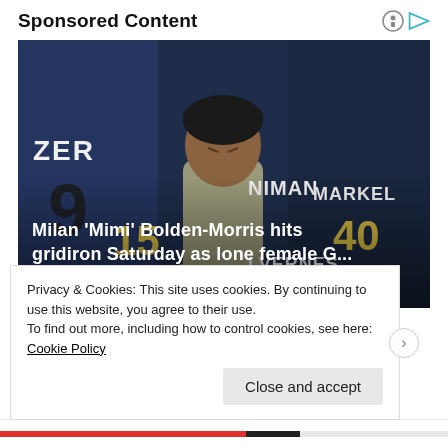Sponsored Content
[Figure (photo): Group of American football players in dark blue jerseys with numbers including 9, 15, and 40, with a woman in a gray shirt in the center looking intensely at the camera. Jersey text visible includes ZER, NIMAN, MARKEL, LVERNES.]
Milan ‘Mimi’ Bolden-Morris hits gridiron Saturday as lone female G...
The Grio
Privacy & Cookies: This site uses cookies. By continuing to use this website, you agree to their use.
To find out more, including how to control cookies, see here: Cookie Policy
Close and accept